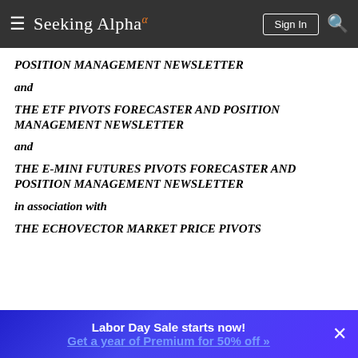Seeking Alpha
POSITION MANAGEMENT NEWSLETTER
and
THE ETF PIVOTS FORECASTER AND POSITION MANAGEMENT NEWSLETTER
and
THE E-MINI FUTURES PIVOTS FORECASTER AND POSITION MANAGEMENT NEWSLETTER
in association with
THE ECHOVECTOR MARKET PRICE PIVOTS
Labor Day Sale starts now! Get a year of Premium for 50% off »